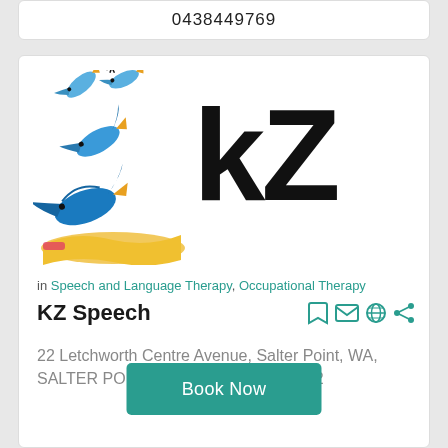0438449769
[Figure (logo): KZ Speech logo with blue birds flying and large KZ letters]
in Speech and Language Therapy, Occupational Therapy
KZ Speech
22 Letchworth Centre Avenue, Salter Point, WA, SALTER POINT, Western Australia 6152
Book Now